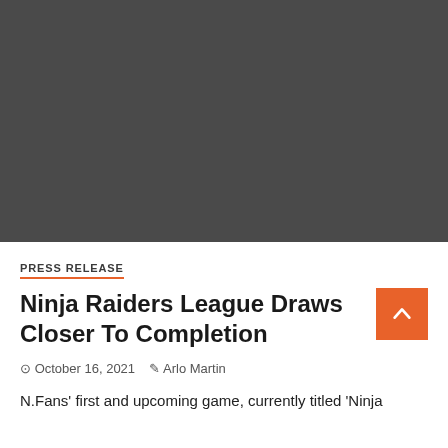[Figure (photo): Dark gray image placeholder at the top of the article page]
PRESS RELEASE
Ninja Raiders League Draws Closer To Completion
October 16, 2021   Arlo Martin
N.Fans' first and upcoming game, currently titled 'Ninja